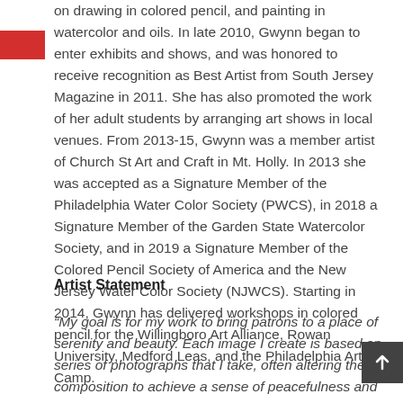on drawing in colored pencil, and painting in watercolor and oils. In late 2010, Gwynn began to enter exhibits and shows, and was honored to receive recognition as Best Artist from South Jersey Magazine in 2011. She has also promoted the work of her adult students by arranging art shows in local venues. From 2013-15, Gwynn was a member artist of Church St Art and Craft in Mt. Holly. In 2013 she was accepted as a Signature Member of the Philadelphia Water Color Society (PWCS), in 2018 a Signature Member of the Garden State Watercolor Society, and in 2019 a Signature Member of the Colored Pencil Society of America and the New Jersey Water Color Society (NJWCS). Starting in 2014, Gwynn has delivered workshops in colored pencil for the Willingboro Art Alliance, Rowan University, Medford Leas, and the Philadelphia Art Camp.
Artist Statement
“My goal is for my work to bring patrons to a place of serenity and beauty. Each image I create is based on series of photographs that I take, often altering the composition to achieve a sense of peacefulness and